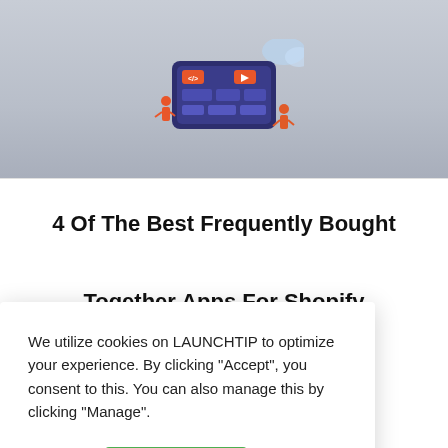[Figure (illustration): Hero banner with a light blue-gray gradient background containing a colorful illustration of a web/app UI dashboard with orange and red accent elements and small human figures around it, with a light blue cloud shape in the upper right.]
4 Of The Best Frequently Bought Together Apps For Shopify
AUNCHTIP ... er products ght place.
2
We utilize cookies on LAUNCHTIP to optimize your experience. By clicking "Accept", you consent to this. You can also manage this by clicking "Manage".